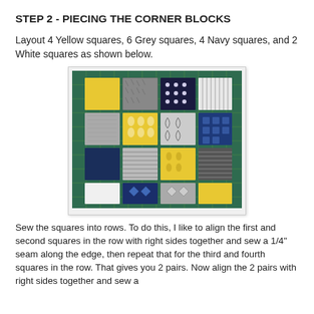STEP 2 - PIECING THE CORNER BLOCKS
Layout 4 Yellow squares, 6 Grey squares, 4 Navy squares, and 2 White squares as shown below.
[Figure (photo): Photograph of fabric squares arranged on a green cutting mat in a 4x4 grid pattern. Squares include yellow, grey patterned, dark navy with dots, white striped, grey textured, yellow with white pattern, grey/black geometric, navy geometric, navy blue, grey striped, yellow patterned, dark grey striped, white solid, navy diamond pattern, grey diamond pattern, and yellow solid.]
Sew the squares into rows.  To do this, I like to align the first and second squares in the row with right sides together and sew a 1/4" seam along the edge, then repeat that for the third and fourth squares in the row.  That gives you 2 pairs.  Now align the 2 pairs with right sides together and sew a 1/4" seam along the edge.  Repeat for all 4 rows.